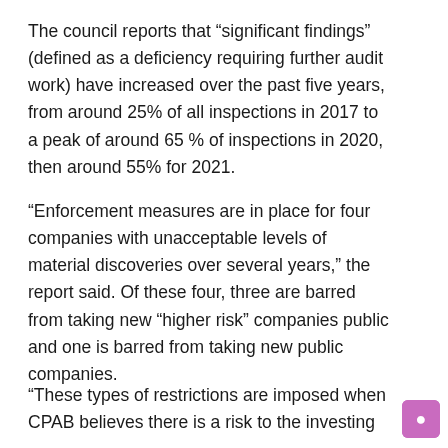The council reports that “significant findings” (defined as a deficiency requiring further audit work) have increased over the past five years, from around 25% of all inspections in 2017 to a peak of around 65 % of inspections in 2020, then around 55% for 2021.
“Enforcement measures are in place for four companies with unacceptable levels of material discoveries over several years,” the report said. Of these four, three are barred from taking new “higher risk” companies public and one is barred from taking new public companies.
“These types of restrictions are imposed when CPAB believes there is a risk to the investing